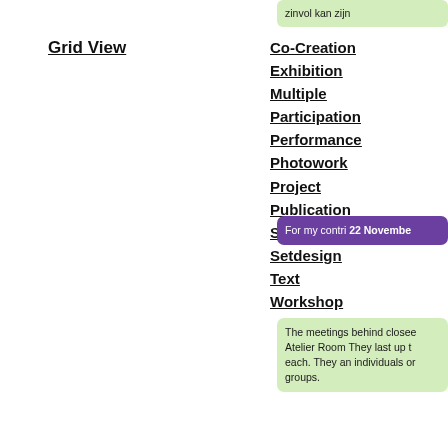zinvol kan zijn
Grid View
Co-Creation
Exhibition
Multiple
Participation
Performance
Photowork
Project
Publication
Sculpture
Setdesign
Text
Workshop
[Figure (photo): Stack of books titled DE COLLECTIEVE COLLECTIE, COLLAGE, and other titles, photographed on a textured surface]
Pu                    2022
[Figure (photo): Partial photo of another publication or artwork, bottom of page]
zinvol kan zijn
For my contri
22 Novembe
The meetings behind closee Atelier Room They last up t each. They an individuals or groups.
The participa picked up by from the STU area at the ag Signing up in necessary.
The artist Ma the private in giving meani not performe work into con and interpreti contribution t Book, 2008: T&